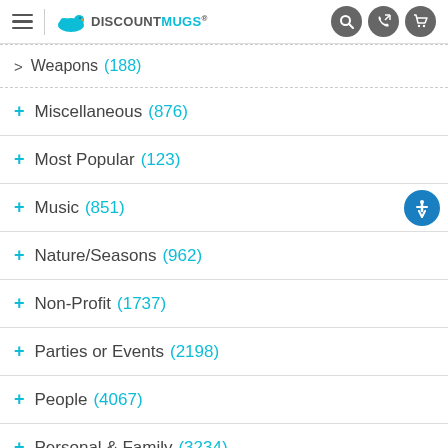DiscountMugs navigation header
Weapons (188)
Miscellaneous (876)
Most Popular (123)
Music (851)
Nature/Seasons (962)
Non-Profit (1737)
Parties or Events (2198)
People (4067)
Personal & Family (3234)